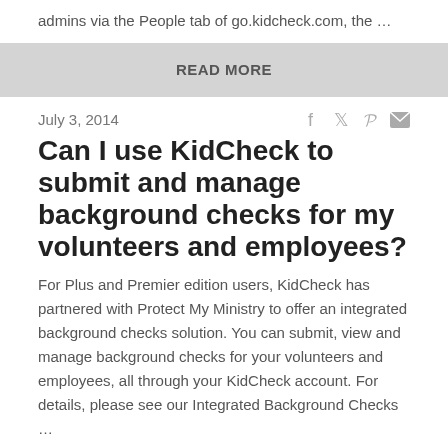admins via the People tab of go.kidcheck.com, the …
READ MORE
July 3, 2014
Can I use KidCheck to submit and manage background checks for my volunteers and employees?
For Plus and Premier edition users, KidCheck has partnered with Protect My Ministry to offer an integrated background checks solution. You can submit, view and manage background checks for your volunteers and employees, all through your KidCheck account. For details, please see our Integrated Background Checks …
READ MORE
July 3, 2014